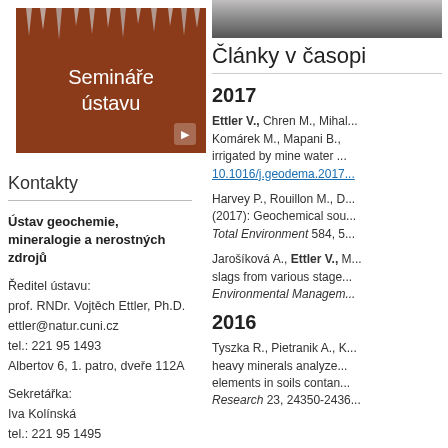[Figure (photo): Brown/terracotta background image with white stalactite-like drips and white text reading 'Semináře ústavu' with a small arrow icon at bottom right]
Kontakty
Ústav geochemie, mineralogie a nerostných zdrojů
Ředitel ústavu:
prof. RNDr. Vojtěch Ettler, Ph.D.
ettler@natur.cuni.cz
tel.: 221 95 1493
Albertov 6, 1. patro, dveře 112A
Sekretářka:
Iva Kolínská
tel.: 221 95 1495
fax: 221 95 1496
ugmna@natur.cuni.cz
[Figure (photo): Grayscale photo strip at top right]
Články v časopi
2017
Ettler V., Chren M., Mihal... Komárek M., Mapani B., irrigated by mine water ... 10.1016/j.geodema.2017...
Harvey P., Rouillon M., D... (2017): Geochemical sou... Total Environment 584, 5...
Jarošíková A., Ettler V., M... slags from various stage... Environmental Managem...
2016
Tyszka R., Pietranik A., K... heavy minerals analyze... elements in soils contan... Research 23, 24350-2436...